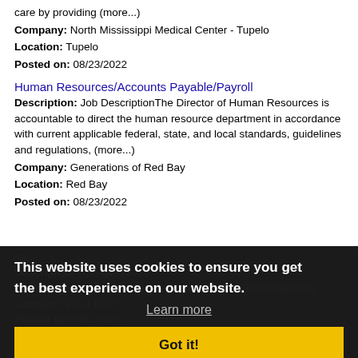care by providing (more...)
Company: North Mississippi Medical Center - Tupelo
Location: Tupelo
Posted on: 08/23/2022
Human Resources/Accounts Payable/Payroll
Description: Job DescriptionThe Director of Human Resources is accountable to direct the human resource department in accordance with current applicable federal, state, and local standards, guidelines and regulations, (more...)
Company: Generations of Red Bay
Location: Red Bay
Posted on: 08/23/2022
As
Description: ...peoples lives
Company: Checkers & Rallys - Checkers Drive-In Restaurants
Location: West Point
Posted on: 08/23/2022
Salary in Oxford, Mississippi Area | More details for Oxford, Mississippi Jobs |Salary
Distribution Center Laborer - Ecru, MS
This website uses cookies to ensure you get the best experience on our website.
Learn more
Got it!